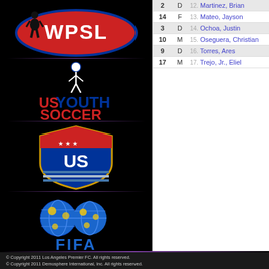[Figure (logo): WPSL (Women's Premier Soccer League) logo — red oval with white WPSL text and female soccer player silhouette]
[Figure (logo): US Youth Soccer logo — red and blue text with a youth soccer player figure]
[Figure (logo): US Soccer crest/shield logo — red, white and blue shield with stars and soccer ball]
[Figure (logo): FIFA logo — two soccer balls with globe design and FIFA text in blue]
| # | Pos | Player |
| --- | --- | --- |
| 2 | D | 12. Martinez, Brian |
| 14 | F | 13. Mateo, Jayson |
| 3 | D | 14. Ochoa, Justin |
| 10 | M | 15. Oseguera, Christian |
| 9 | D | 16. Torres, Ares |
| 17 | M | 17. Trejo, Jr., Eliel |
© Copyright 2011 Los Angeles Premier FC. All rights reserved.
© Copyright 2011 Demosphere International, Inc. All rights reserved.